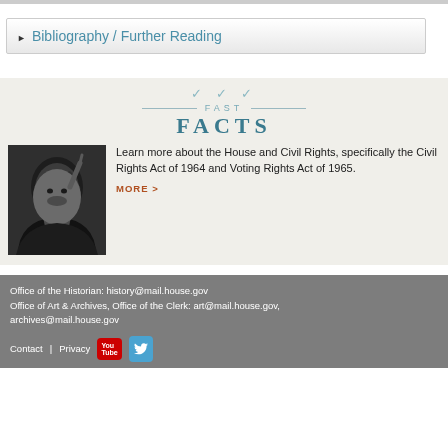▶ Bibliography / Further Reading
FAST FACTS
[Figure (photo): Black and white photograph of Martin Luther King Jr. pointing with his finger]
Learn more about the House and Civil Rights, specifically the Civil Rights Act of 1964 and Voting Rights Act of 1965.
MORE >
Office of the Historian: history@mail.house.gov
Office of Art & Archives, Office of the Clerk: art@mail.house.gov, archives@mail.house.gov
Contact   Privacy   [YouTube]  [Twitter]